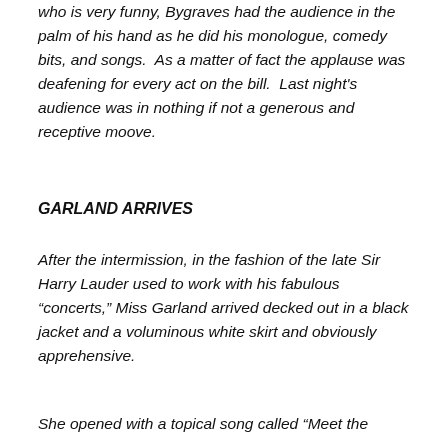who is very funny, Bygraves had the audience in the palm of his hand as he did his monologue, comedy bits, and songs.  As a matter of fact the applause was deafening for every act on the bill.  Last night's audience was in nothing if not a generous and receptive moove.
GARLAND ARRIVES
After the intermission, in the fashion of the late Sir Harry Lauder used to work with his fabulous “concerts,” Miss Garland arrived decked out in a black jacket and a voluminous white skirt and obviously apprehensive.
She opened with a topical song called “Meet the